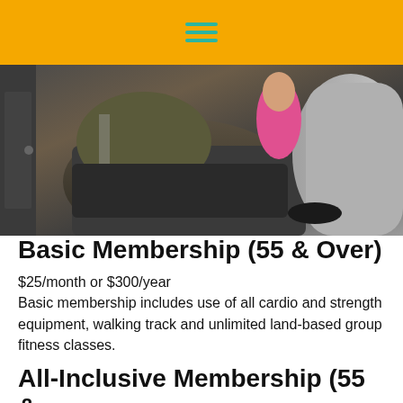[Figure (photo): Person using gym/strength equipment, close-up of legs on a machine, another person in pink shirt in background]
Basic Membership (55 & Over)
$25/month or $300/year
Basic membership includes use of all cardio and strength equipment, walking track and unlimited land-based group fitness classes.
All-Inclusive Membership (55 & Over)